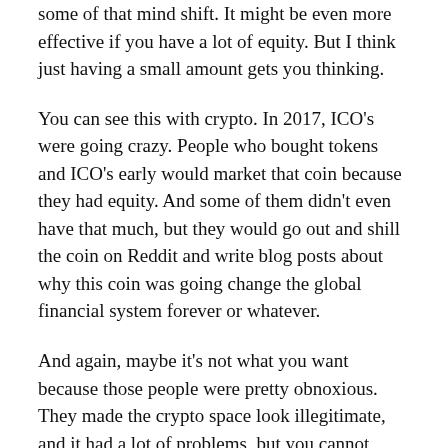some of that mind shift. It might be even more effective if you have a lot of equity. But I think just having a small amount gets you thinking.
You can see this with crypto. In 2017, ICO's were going crazy. People who bought tokens and ICO's early would market that coin because they had equity. And some of them didn't even have that much, but they would go out and shill the coin on Reddit and write blog posts about why this coin was going change the global financial system forever or whatever.
And again, maybe it's not what you want because those people were pretty obnoxious. They made the crypto space look illegitimate, and it had a lot of problems, but you cannot deny that they had a lot of enthusiasm. That happened because they were owners of the network.